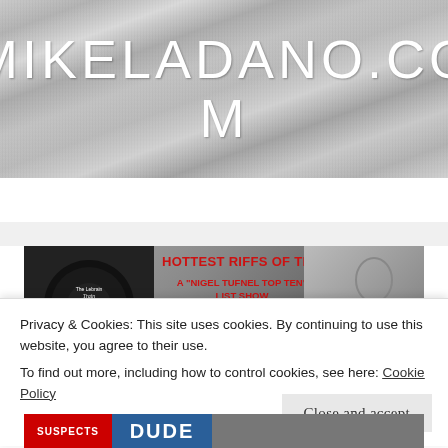MIKELADANO.COM
MENU
[Figure (screenshot): Featured article image showing The Lebrain Train podcast logo with a vinyl record illustration, and text 'HOTTEST RIFFS OF THE 1970s - A NIGEL TUFNEL TOP TEN LIST SHOW' in red, with a guitar player silhouette on the right]
Privacy & Cookies: This site uses cookies. By continuing to use this website, you agree to their use.
To find out more, including how to control cookies, see here: Cookie Policy
Close and accept
[Figure (screenshot): Bottom strip showing partial images including red SUSPECTS text, blue DUDE text, and a dark image on the right]